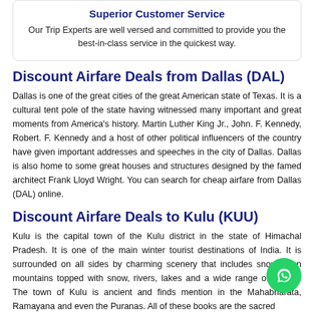Superior Customer Service
Our Trip Experts are well versed and committed to provide you the best-in-class service in the quickest way.
Discount Airfare Deals from Dallas (DAL)
Dallas is one of the great cities of the great American state of Texas. It is a cultural tent pole of the state having witnessed many important and great moments from America's history. Martin Luther King Jr., John. F. Kennedy, Robert. F. Kennedy and a host of other political influencers of the country have given important addresses and speeches in the city of Dallas. Dallas is also home to some great houses and structures designed by the famed architect Frank Lloyd Wright. You can search for cheap airfare from Dallas (DAL) online.
Discount Airfare Deals to Kulu (KUU)
Kulu is the capital town of the Kulu district in the state of Himachal Pradesh. It is one of the main winter tourist destinations of India. It is surrounded on all sides by charming scenery that includes snow-laden mountains topped with snow, rivers, lakes and a wide range of wildlife. The town of Kulu is ancient and finds mention in the Mahabharata, Ramayana and even the Puranas. All of these books are the sacred